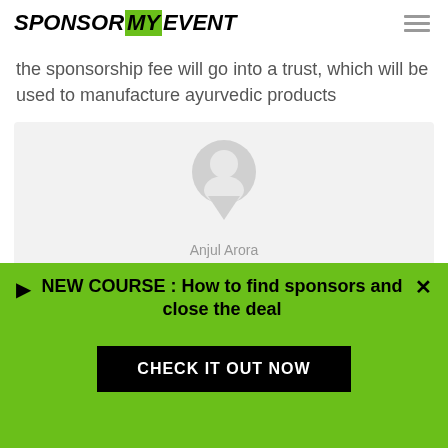SPONSOR MY EVENT
the sponsorship fee will go into a trust, which will be used to manufacture ayurvedic products
[Figure (photo): Generic user avatar/profile placeholder image with circular head and body silhouette in grey, with name 'Anjul Arora' below]
NEW COURSE : How to find sponsors and close the deal
CHECK IT OUT NOW